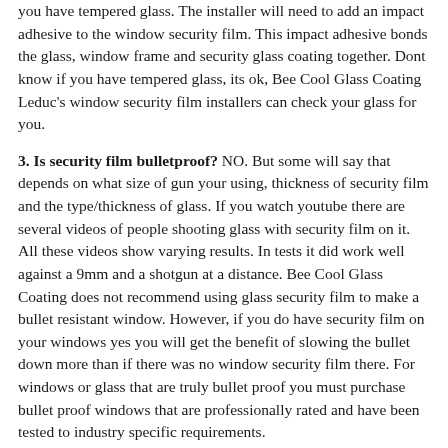you have tempered glass. The installer will need to add an impact adhesive to the window security film. This impact adhesive bonds the glass, window frame and security glass coating together. Dont know if you have tempered glass, its ok, Bee Cool Glass Coating Leduc's window security film installers can check your glass for you.
3. Is security film bulletproof? NO. But some will say that depends on what size of gun your using, thickness of security film and the type/thickness of glass. If you watch youtube there are several videos of people shooting glass with security film on it. All these videos show varying results. In tests it did work well against a 9mm and a shotgun at a distance. Bee Cool Glass Coating does not recommend using glass security film to make a bullet resistant window. However, if you do have security film on your windows yes you will get the benefit of slowing the bullet down more than if there was no window security film there. For windows or glass that are truly bullet proof you must purchase bullet proof windows that are professionally rated and have been tested to industry specific requirements.
4. Does security film block UV rays and reduce fading?
Yes it does. All Bee Cool Glass Coating Leduc security window films also reduce this damaging from your windows for the